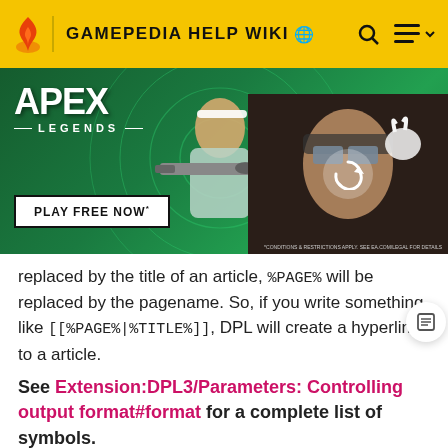GAMEPEDIA HELP WIKI
[Figure (photo): Apex Legends advertisement banner showing a character with a sniper rifle on a green background with 'PLAY FREE NOW' button, and a second character on right side with a loading/refresh overlay icon]
replaced by the title of an article, %PAGE% will be replaced by the pagename. So, if you write something like [[%PAGE%|%TITLE%]], DPL will create a hyperlink to a article.
See Extension:DPL3/Parameters: Controlling output format#format for a complete list of symbols.
The specification of listseparators, secseparators